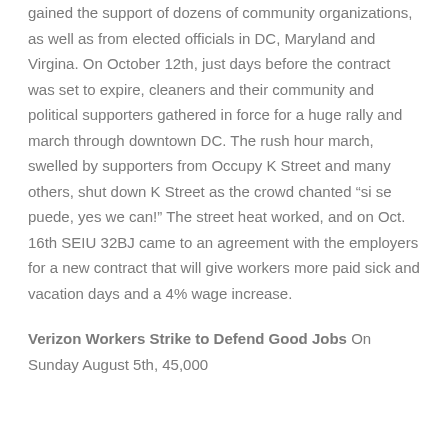gained the support of dozens of community organizations, as well as from elected officials in DC, Maryland and Virgina. On October 12th, just days before the contract was set to expire, cleaners and their community and political supporters gathered in force for a huge rally and march through downtown DC. The rush hour march, swelled by supporters from Occupy K Street and many others, shut down K Street as the crowd chanted “si se puede, yes we can!” The street heat worked, and on Oct. 16th SEIU 32BJ came to an agreement with the employers for a new contract that will give workers more paid sick and vacation days and a 4% wage increase.
Verizon Workers Strike to Defend Good Jobs
On Sunday August 5th, 45,000